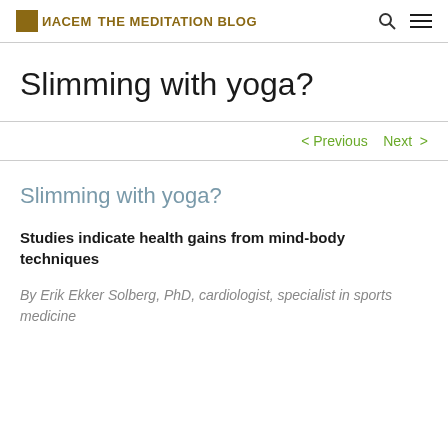ИАСЕМ THE MEDITATION BLOG
Slimming with yoga?
< Previous   Next >
Slimming with yoga?
Studies indicate health gains from mind-body techniques
By Erik Ekker Solberg, PhD, cardiologist, specialist in sports medicine